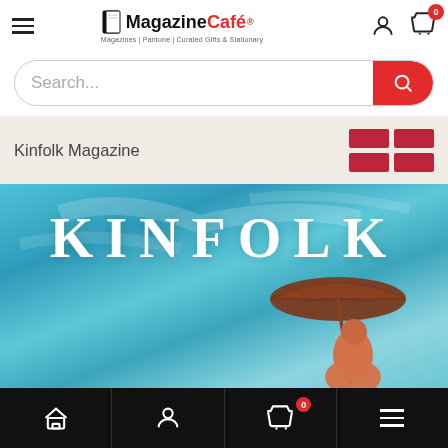Magazine Café — Magazines | Pantone | Curated Gifts & Stationary
Search...
Kinfolk Magazine
[Figure (photo): Kinfolk magazine cover showing the word KINFOLK in large serif white letters on a blue sky background, with a person holding a wide-brimmed umbrella visible at the lower right]
Bottom navigation: Home, Account, Cart (0), Menu